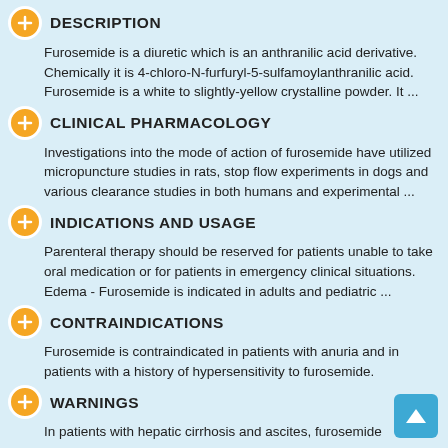DESCRIPTION
Furosemide is a diuretic which is an anthranilic acid derivative. Chemically it is 4-chloro-N-furfuryl-5-sulfamoylanthranilic acid. Furosemide is a white to slightly-yellow crystalline powder. It ...
CLINICAL PHARMACOLOGY
Investigations into the mode of action of furosemide have utilized micropuncture studies in rats, stop flow experiments in dogs and various clearance studies in both humans and experimental ...
INDICATIONS AND USAGE
Parenteral therapy should be reserved for patients unable to take oral medication or for patients in emergency clinical situations. Edema - Furosemide is indicated in adults and pediatric ...
CONTRAINDICATIONS
Furosemide is contraindicated in patients with anuria and in patients with a history of hypersensitivity to furosemide.
WARNINGS
In patients with hepatic cirrhosis and ascites, furosemide